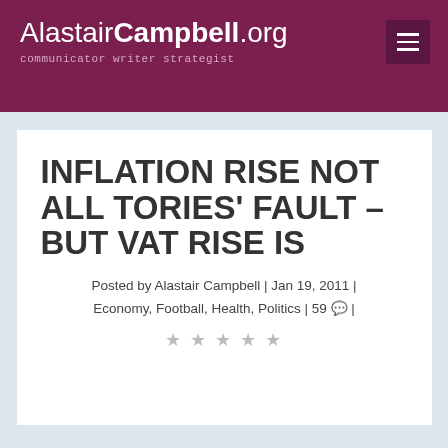AlastairCampbell.org — communicator writer strategist
INFLATION RISE NOT ALL TORIES' FAULT – BUT VAT RISE IS
Posted by Alastair Campbell | Jan 19, 2011 | Economy, Football, Health, Politics | 59 💬 |
★★★★★